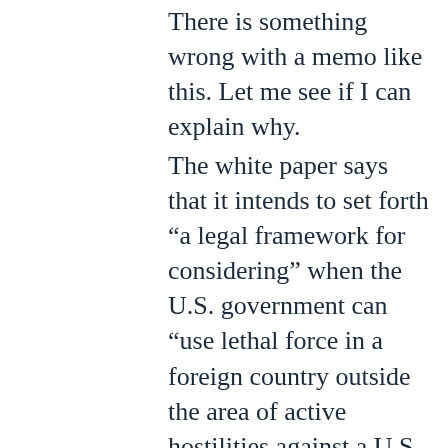There is something wrong with a memo like this. Let me see if I can explain why.
The white paper says that it intends to set forth “a legal framework for considering” when the U.S. government can “use lethal force in a foreign country outside the area of active hostilities against a U.S. citizen who is a senior operational leader of al-Qa’ida or an associated force if al-Qa’ida – that is, an al-Qa’ida leader actively engaged in planning operations to kill Americans.” While the paper disclaims any intention of establishing the “minimum requirements